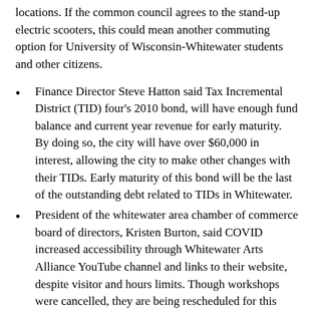locations. If the common council agrees to the stand-up electric scooters, this could mean another commuting option for University of Wisconsin-Whitewater students and other citizens.
Finance Director Steve Hatton said Tax Incremental District (TID) four's 2010 bond, will have enough fund balance and current year revenue for early maturity. By doing so, the city will have over $60,000 in interest, allowing the city to make other changes with their TIDs. Early maturity of this bond will be the last of the outstanding debt related to TIDs in Whitewater.
President of the whitewater area chamber of commerce board of directors, Kristen Burton, said COVID increased accessibility through Whitewater Arts Alliance YouTube channel and links to their website, despite visitor and hours limits. Though workshops were cancelled, they are being rescheduled for this summer in hopes to make them livestream as well for more accessibility.